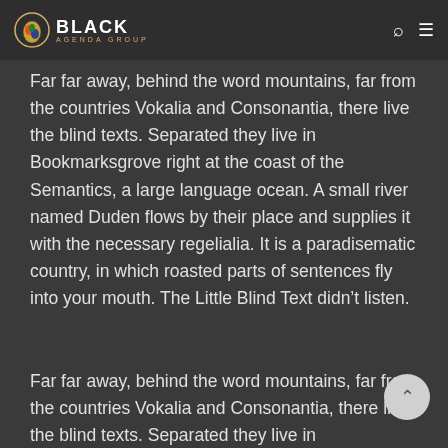BLACK AGENDA GROUP
Far far away, behind the word mountains, far from the countries Vokalia and Consonantia, there live the blind texts. Separated they live in Bookmarksgrove right at the coast of the Semantics, a large language ocean. A small river named Duden flows by their place and supplies it with the necessary regelialia. It is a paradisematic country, in which roasted parts of sentences fly into your mouth. The Little Blind Text didn’t listen.
Far far away, behind the word mountains, far from the countries Vokalia and Consonantia, there live the blind texts. Separated they live in Bookmarksgrove right at the